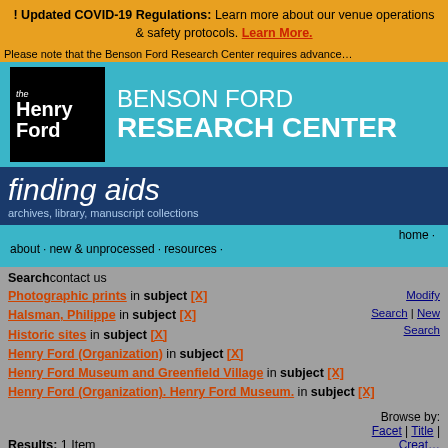! Updated COVID-19 Regulations: Learn more about our venue operations & safety protocols. Learn More.
[Figure (logo): The Henry Ford museum logo — black square with white stylized text reading 'the Henry Ford']
BENSON FORD RESEARCH CENTER
finding aids
about · new & unprocessed · resources · home · Search contact us
Photographic prints in subject [X] Halsman, Philippe in subject [X] Historic sites in subject [X] Henry Ford (Organization) in subject [X] Henry Ford Museum and Greenfield Village in subject [X] Henry Ford (Organization). Henry Ford Museum. in subject [X]
Modify Search | New Search
Results: 1 Item
Browse by: Facet | Title | Creator